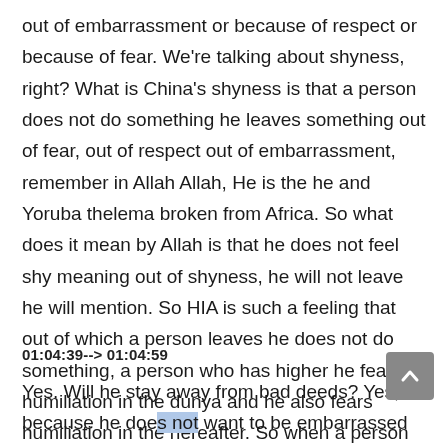out of embarrassment or because of respect or because of fear. We're talking about shyness, right? What is China's shyness is that a person does not do something he leaves something out of fear, out of respect out of embarrassment, remember in Allah Allah, He is the he and Yoruba thelema broken from Africa. So what does it mean by Allah is that he does not feel shy meaning out of shyness, he will not leave he will mention. So HIA is such a feeling that out of which a person leaves he does not do something, a person who has higher he fears humiliation in the dunya and he also fears humiliation in the hereafter. So when a person will have higher will he perform righteous deeds?
01:04:39--> 01:04:59
Yes. Will he stay away from bad deeds? Yes, because he does not want to be embarrassed in this dunya or on the Day of Judgment. So